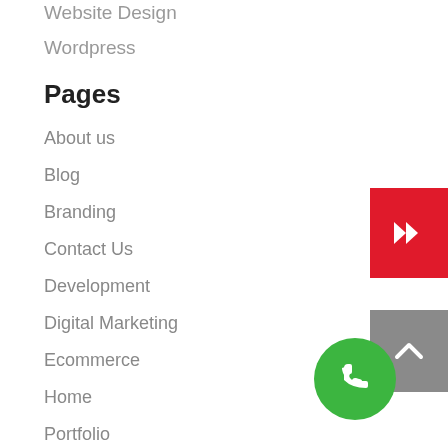Website Design
Wordpress
Pages
About us
Blog
Branding
Contact Us
Development
Digital Marketing
Ecommerce
Home
Portfolio
PRIVACY POLICY
SEO Optimization
[Figure (illustration): Red button with right-pointing double chevron arrow, partially visible at right edge]
[Figure (illustration): Gray scroll-to-top button with upward chevron arrow, partially visible at right edge]
[Figure (illustration): Green circular phone call button]